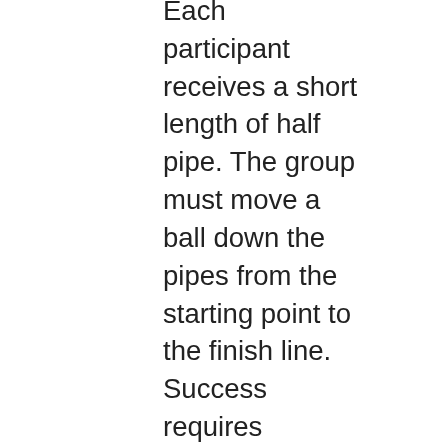Each participant receives a short length of half pipe. The group must move a ball down the pipes from the starting point to the finish line. Success requires communication, creativity, and teamwork. The game